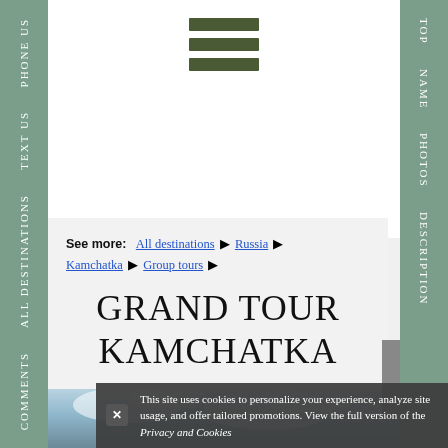[Figure (other): Hamburger menu icon with three dark olive-green horizontal bars]
See more: All destinations ▶ Russia ▶ Kamchatka ▶ Group tours ▶
GRAND TOUR KAMCHATKA
[Figure (photo): Sky with clouds — photo strip at bottom of page]
This site uses cookies to personalize your experience, analyze site usage, and offer tailored promotions. View the full version of the Privacy and Cookies